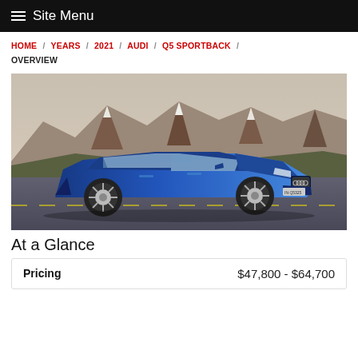Site Menu
HOME / YEARS / 2021 / AUDI / Q5 SPORTBACK / OVERVIEW
[Figure (photo): 2021 Audi Q5 Sportback in blue, parked on a road with dramatic mountain scenery in the background]
At a Glance
| Pricing | $47,800 - $64,700 |
| --- | --- |